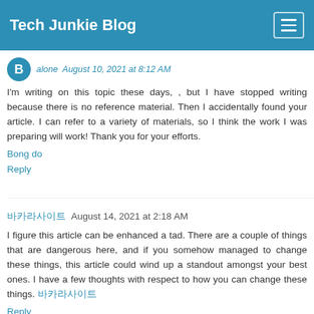Tech Junkie Blog
alone  August 10, 2021 at 8:12 AM
I'm writing on this topic these days, , but I have stopped writing because there is no reference material. Then I accidentally found your article. I can refer to a variety of materials, so I think the work I was preparing will work! Thank you for your efforts.
Bong do
Reply
바카라사이트  August 14, 2021 at 2:18 AM
I figure this article can be enhanced a tad. There are a couple of things that are dangerous here, and if you somehow managed to change these things, this article could wind up a standout amongst your best ones. I have a few thoughts with respect to how you can change these things. 바카라사이트
Reply
majortotositepro  August 14, 2021 at 11:34 PM